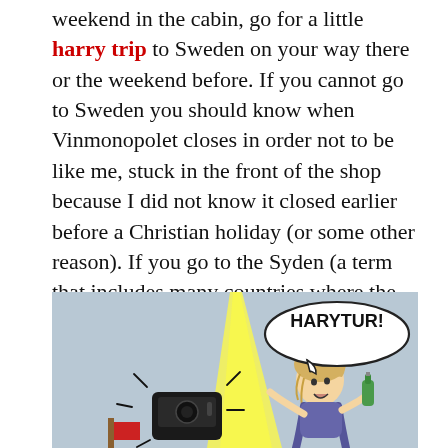weekend in the cabin, go for a little harry trip to Sweden on your way there or the weekend before. If you cannot go to Sweden you should know when Vinmonopolet closes in order not to be like me, stuck in the front of the shop because I did not know it closed earlier before a Christian holiday (or some other reason). If you go to the Syden (a term that includes many countries where the sun shines, the beer is almost free and easily available, see here for more info) then the international flight will provide a starter, and the all inclusive will supply all your needs once you are off down there.
[Figure (illustration): Cartoon illustration showing a person with blonde hair holding a green bottle, being startled by a beam of yellow light from a black object. A speech bubble reads 'HARYTUR!' The background is light blue-grey.]